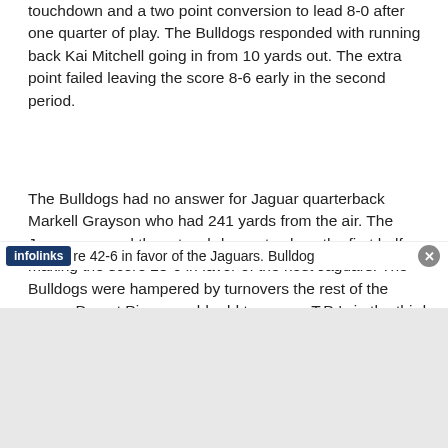touchdown and a two point conversion to lead 8-0 after one quarter of play. The Bulldogs responded with running back Kai Mitchell going in from 10 yards out. The extra point failed leaving the score 8-6 early in the second period.
The Bulldogs had no answer for Jaguar quarterback Markell Grayson who had 241 yards from the air. The Jaguars scored three touchdowns to close the first half making the score 28-6 in favor of the host Jaguars. The Bulldogs were hampered by turnovers the rest of the game. Desert Pines would add two more T.D.'s in the third quarter to make the final score 42-6 in favor of the Jaguars. Bulldog